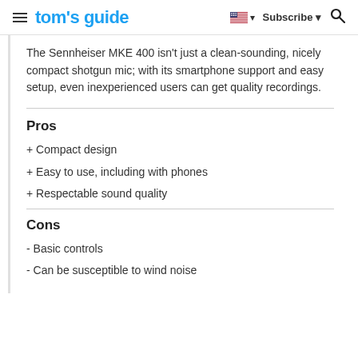tom's guide | Subscribe
The Sennheiser MKE 400 isn't just a clean-sounding, nicely compact shotgun mic; with its smartphone support and easy setup, even inexperienced users can get quality recordings.
Pros
+ Compact design
+ Easy to use, including with phones
+ Respectable sound quality
Cons
- Basic controls
- Can be susceptible to wind noise